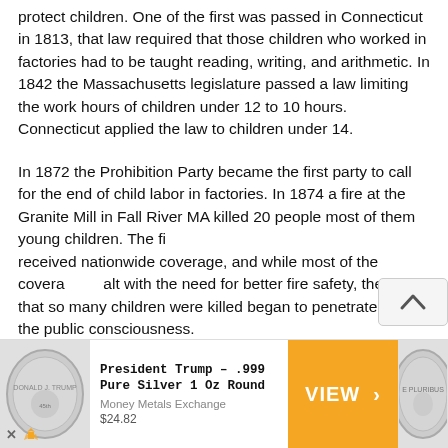protect children. One of the first was passed in Connecticut in 1813, that law required that those children who worked in factories had to be taught reading, writing, and arithmetic. In 1842 the Massachusetts legislature passed a law limiting the work hours of children under 12 to 10 hours. Connecticut applied the law to children under 14.
In 1872 the Prohibition Party became the first party to call for the end of child labor in factories. In 1874 a fire at the Granite Mill in Fall River MA killed 20 people most of them young children. The fire received nationwide coverage, and while most of the coverage dealt with the need for better fire safety, the fact that so many children were killed began to penetrate into the public consciousness.
Between 1885 and 1889 10 states passed a minimum age law for children while 6 set the maximum number of hours that a child could work. During this time compulsory education laws were passed in the North, and as a result, the number of children in high
[Figure (infographic): Advertisement banner for President Trump .999 Pure Silver 1 Oz Round from Money Metals Exchange priced at $24.82 with VIEW button, flanked by coin images]